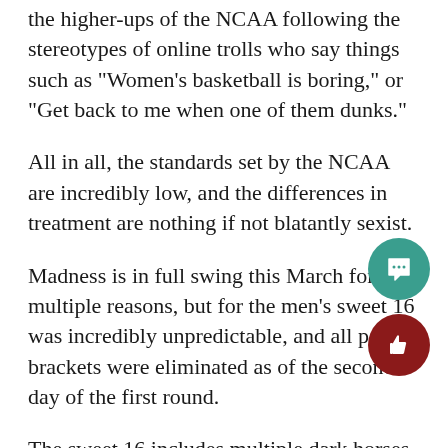the higher-ups of the NCAA following the stereotypes of online trolls who say things such as “Women’s basketball is boring,” or “Get back to me when one of them dunks.”
All in all, the standards set by the NCAA are incredibly low, and the differences in treatment are nothing if not blatantly sexist.
Madness is in full swing this March for multiple reasons, but for the men’s sweet 16 was incredibly unpredictable, and all perfect brackets were eliminated as of the second day of the first round.
The sweet 16 includes multiple dark horses such as #12 Oregon State, #11 UCLA, #11 Syracuse, #7 Oregon, and of course, giant-slayers in Loyola-Chicago and Oral Roberts.
As a March Madness enthusiast, I’d be lying if I said